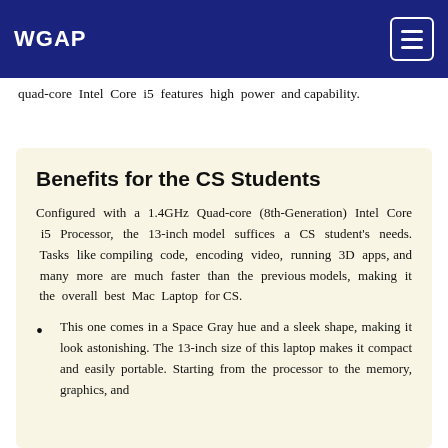WGAP
quad-core Intel Core i5 features high power and capability.
Benefits for the CS Students
Configured with a 1.4GHz Quad-core (8th-Generation) Intel Core i5 Processor, the 13-inch model suffices a CS student's needs. Tasks like compiling code, encoding video, running 3D apps, and many more are much faster than the previous models, making it the overall best Mac Laptop for CS.
This one comes in a Space Gray hue and a sleek shape, making it look astonishing. The 13-inch size of this laptop makes it compact and easily portable. Starting from the processor to the memory, graphics, and